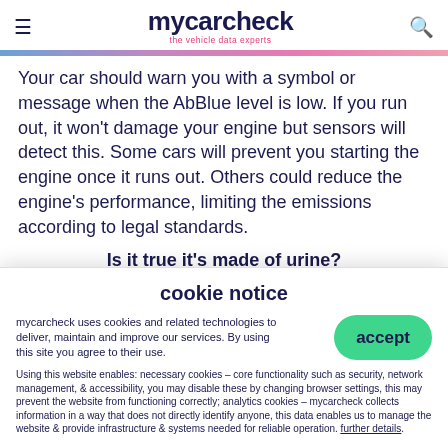mycarcheck — the vehicle data experts
Your car should warn you with a symbol or message when the AbBlue level is low. If you run out, it won't damage your engine but sensors will detect this. Some cars will prevent you starting the engine once it runs out. Others could reduce the engine's performance, limiting the emissions according to legal standards.
Is it true it's made of urine?
No, this is an urban myth. However, it does contain
cookie notice
mycarcheck uses cookies and related technologies to deliver, maintain and improve our services. By using this site you agree to their use.
Using this website enables: necessary cookies – core functionality such as security, network management, & accessibility, you may disable these by changing browser settings, this may prevent the website from functioning correctly; analytics cookies – mycarcheck collects information in a way that does not directly identify anyone, this data enables us to manage the website & provide infrastructure & systems needed for reliable operation. further details.